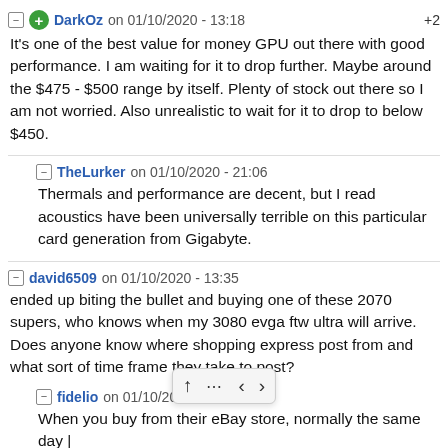DarkOz on 01/10/2020 - 13:18   +2
It's one of the best value for money GPU out there with good performance. I am waiting for it to drop further. Maybe around the $475 - $500 range by itself. Plenty of stock out there so I am not worried. Also unrealistic to wait for it to drop to below $450.
TheLurker on 01/10/2020 - 21:06
Thermals and performance are decent, but I read acoustics have been universally terrible on this particular card generation from Gigabyte.
david6509 on 01/10/2020 - 13:35
ended up biting the bullet and buying one of these 2070 supers, who knows when my 3080 evga ftw ultra will arrive. Does anyone know where shopping express post from and what sort of time frame they take to post?
fidelio on 01/10/202...
When you buy from their eBay store, normally the same day |